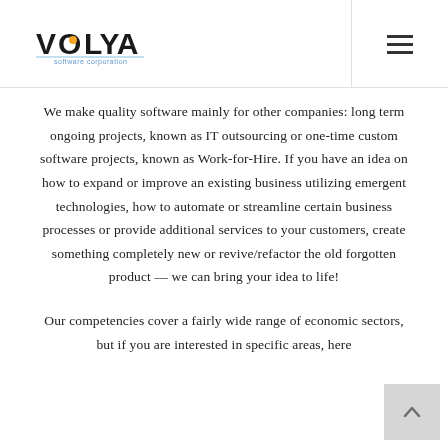VOLYA software corporation
We make quality software mainly for other companies: long term ongoing projects, known as IT outsourcing or one-time custom software projects, known as Work-for-Hire. If you have an idea on how to expand or improve an existing business utilizing emergent technologies, how to automate or streamline certain business processes or provide additional services to your customers, create something completely new or revive/refactor the old forgotten product — we can bring your idea to life!
Our competencies cover a fairly wide range of economic sectors, but if you are interested in specific areas, here